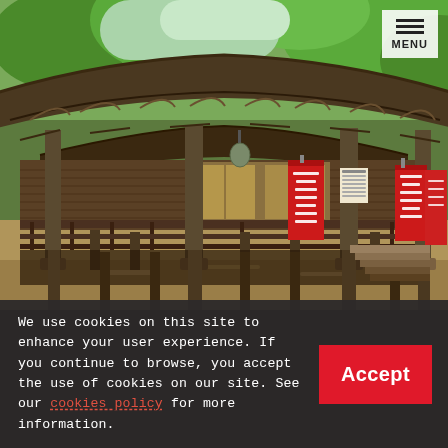[Figure (photo): Photograph of a traditional Japanese wooden temple or shrine building with ornate carved wooden eaves and roof brackets, red hanging banners with Japanese text, wooden railings and columns, viewed from outside at ground level. Green trees visible in background. Sunlit scene.]
We use cookies on this site to enhance your user experience. If you continue to browse, you accept the use of cookies on our site. See our cookies policy for more information.